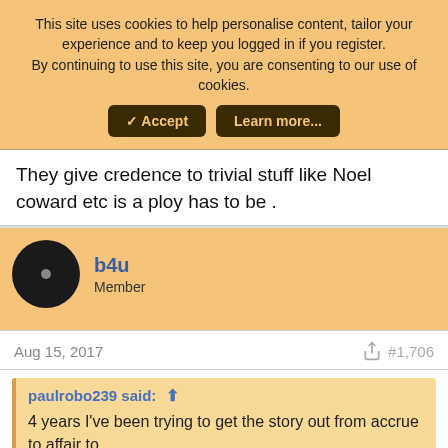This site uses cookies to help personalise content, tailor your experience and to keep you logged in if you register.
By continuing to use this site, you are consenting to our use of cookies.
They give credence to trivial stuff like Noel coward etc is a ploy has to be .
b4u
Member
Aug 15, 2017
#1,706
paulrobo239 said:
4 years I've been trying to get the story out from accrue to affair to